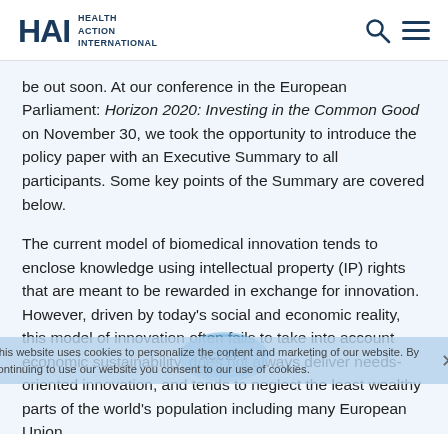HAI Health Action International
be out soon. At our conference in the European Parliament: Horizon 2020: Investing in the Common Good on November 30, we took the opportunity to introduce the policy paper with an Executive Summary to all participants. Some key points of the Summary are covered below.
The current model of biomedical innovation tends to enclose knowledge using intellectual property (IP) rights that are meant to be rewarded in exchange for innovation. However, driven by today's social and economic reality, this model of innovation often fails to take into account economic sustainability, does not always deliver needs-oriented innovation, and tends to neglect the least wealthy parts of the world's population including many European Union (EU) citizens. The Horizon 2020 EU Programme has...